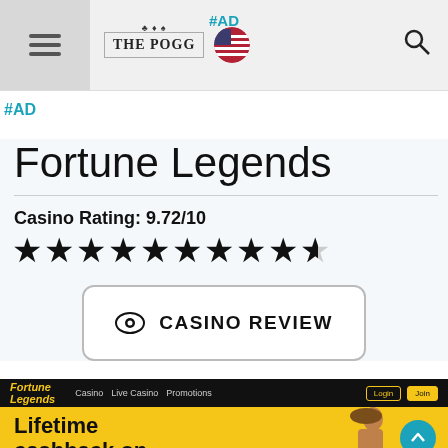#AD | THE POGG
#AD
Fortune Legends
Casino Rating: 9.72/10
★★★★★★★★★½
CASINO REVIEW
[Figure (screenshot): Fortune Legends casino website screenshot showing navigation bar and 'Lifetime cashback on' promotional banner with yellow background]